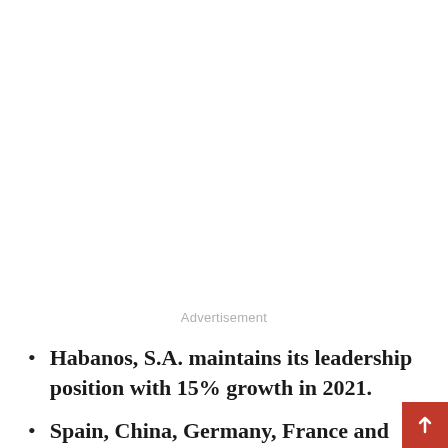Advertisement
Habanos, S.A. maintains its leadership position with 15% growth in 2021.
Spain, China, Germany, France and Switzerland lead the ranking of Habanos, S.A.'s most important countries.